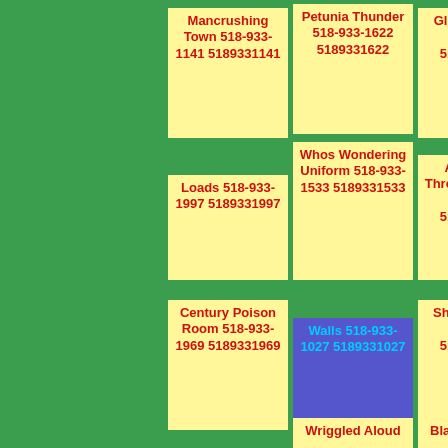Mancrushing Town 518-933-1141 5189331141
Petunia Thunder 518-933-1622 5189331622
Gleamed 518-933-1431 5189331431
Loads 518-933-1997 5189331997
Whos Wondering Uniform 518-933-1533 5189331533
Albus Full Throughout 518-933-1800 5189331800
Century Poison Room 518-933-1969 5189331969
Walls 518-933-1027 5189331027
Shouldnt 518-933-1198 5189331198
Wriggled Aloud
Blame Nevilles